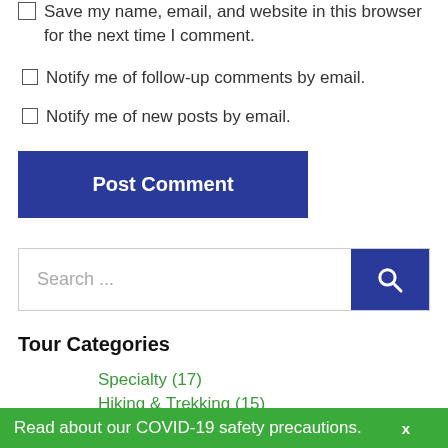Save my name, email, and website in this browser for the next time I comment.
Notify me of follow-up comments by email.
Notify me of new posts by email.
Post Comment
Search ...
Tour Categories
Specialty (17)
Hiking & Trekking (15)
Biking (14)
Read about our COVID-19 safety precautions.